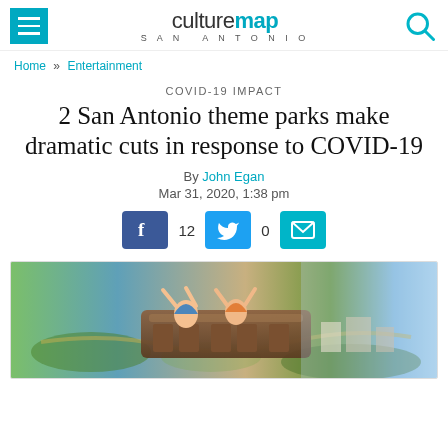culturemap SAN ANTONIO
Home » Entertainment
COVID-19 IMPACT
2 San Antonio theme parks make dramatic cuts in response to COVID-19
By John Egan
Mar 31, 2020, 1:38 pm
[Figure (infographic): Social share buttons: Facebook (12 shares), Twitter (0 shares), Email]
[Figure (photo): Aerial photo of two people on a roller coaster at a theme park with hands in the air, with the park grounds visible below]